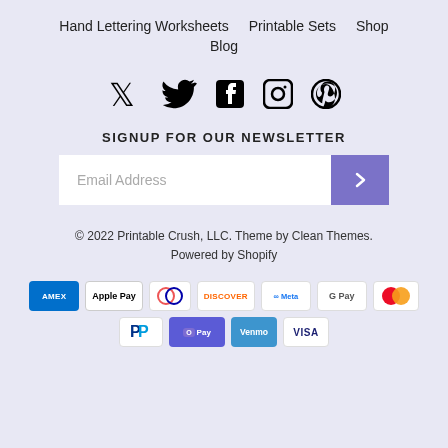Hand Lettering Worksheets   Printable Sets   Shop   Blog
[Figure (illustration): Social media icons: Twitter, Facebook, Instagram, Pinterest]
SIGNUP FOR OUR NEWSLETTER
Email Address
© 2022 Printable Crush, LLC. Theme by Clean Themes. Powered by Shopify
[Figure (other): Payment method icons: American Express, Apple Pay, Diners Club, Discover, Meta Pay, Google Pay, Mastercard, PayPal, Shop Pay, Venmo, Visa]